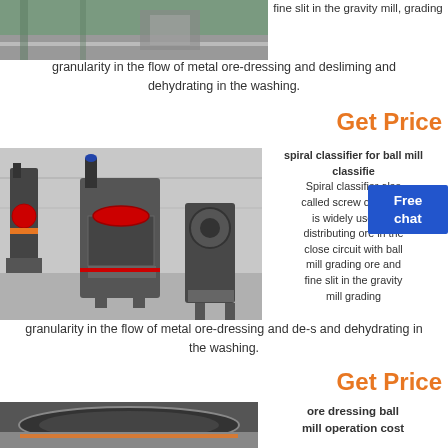[Figure (photo): Photo of industrial equipment, gray machinery in a warehouse]
fine slit in the gravity mill, grading granularity in the flow of metal ore-dressing and desliming and dehydrating in the washing.
Get Price
[Figure (photo): Photo of spiral classifier and ball mill equipment in a factory]
spiral classifier for ball mill classifier: Spiral classifier also called screw classifier is widely used for distributing ore in the close circuit with ball mill grading ore and fine slit in the gravity mill grading granularity in the flow of metal ore-dressing and de-s and dehydrating in the washing.
Free chat
Get Price
[Figure (photo): Close-up photo of ore dressing ball mill equipment]
ore dressing ball mill operation cost